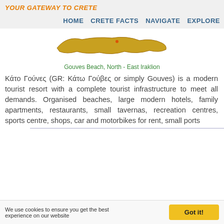YOUR GATEWAY TO CRETE
HOME   CRETE FACTS   NAVIGATE   EXPLORE
[Figure (map): Golden map outline of Crete island]
Gouves Beach, North - East Iraklion
Κάτο Γούνες (GR: Κάτω Γούβες or simply Gouves) is a modern tourist resort with a complete tourist infrastructure to meet all demands. Organised beaches, large modern hotels, family apartments, restaurants, small tavernas, recreation centres, sports centre, shops, car and motorbikes for rent, small ports
[Figure (photo): Aerial photograph of a coastal bay with blue water, rocky hillside and a sandy beach, showing a small Mediterranean coastal town]
We use cookies to ensure you get the best experience on our website